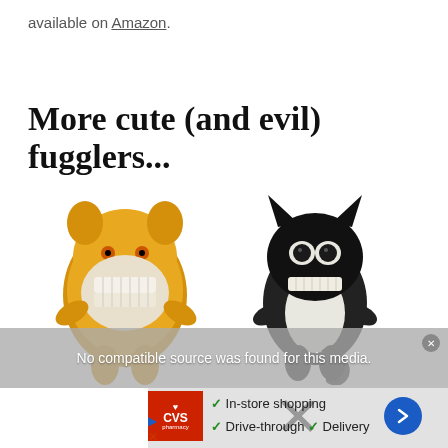available on Amazon.
More cute (and evil) fugglers...
[Figure (photo): Two Fuggler plush toy monsters side by side: a yellow/orange furry monster on the left with a large toothy grin and orange eyes, and a black cat-like monster on the right with big dark eyes and a wide toothy mouth, both standing upright.]
No compatible source was found for this media.
✓ In-store shopping ✓ Drive-through ✓ Delivery